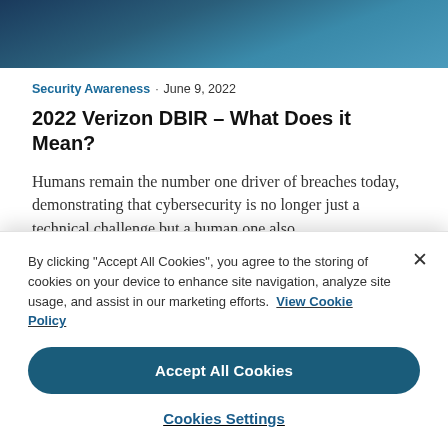[Figure (photo): Dark teal/blue header image, partial photo visible]
Security Awareness · June 9, 2022
2022 Verizon DBIR – What Does it Mean?
Humans remain the number one driver of breaches today, demonstrating that cybersecurity is no longer just a technical challenge but a human one also.
By clicking "Accept All Cookies", you agree to the storing of cookies on your device to enhance site navigation, analyze site usage, and assist in our marketing efforts.  View Cookie Policy
Accept All Cookies
Cookies Settings